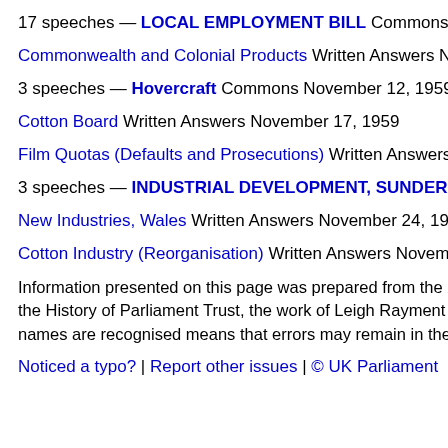17 speeches — LOCAL EMPLOYMENT BILL Commons Nov…
Commonwealth and Colonial Products Written Answers Novem…
3 speeches — Hovercraft Commons November 12, 1959
Cotton Board Written Answers November 17, 1959
Film Quotas (Defaults and Prosecutions) Written Answers Nov…
3 speeches — INDUSTRIAL DEVELOPMENT, SUNDERLAN…
New Industries, Wales Written Answers November 24, 1959
Cotton Industry (Reorganisation) Written Answers November 2…
Information presented on this page was prepared from the XM… the History of Parliament Trust, the work of Leigh Rayment and… names are recognised means that errors may remain in the da…
Noticed a typo? | Report other issues | © UK Parliament